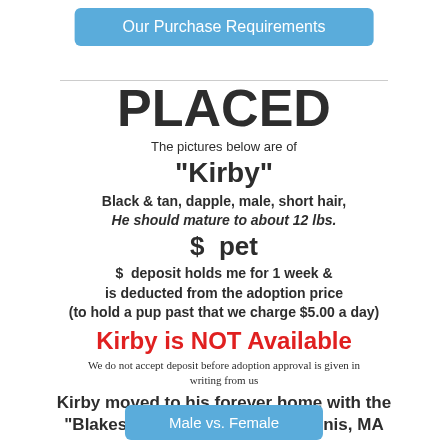Our Purchase Requirements
PLACED
The pictures below are of
"Kirby"
Black & tan, dapple, male, short hair,
He should mature to about 12 lbs.
$  pet
$  deposit holds me for 1 week & is deducted from the adoption price (to hold a pup past that we charge $5.00 a day)
Kirby is NOT Available
We do not accept deposit before adoption approval is given in writing from us
Kirby moved to his forever home with the "Blakeslee" family of South Dennis, MA
Male vs. Female